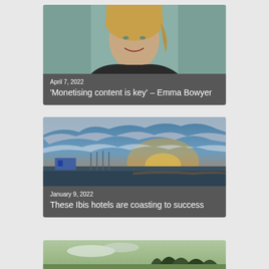[Figure (photo): Card with portrait photo of smiling blonde woman against teal background, with dark overlay showing date April 7, 2022 and title 'Monetising content is key' – Emma Bowyer]
[Figure (photo): Card with landscape photo of dramatic sky with clouds over coastal/waterfront scene at sunset, with dark overlay showing date January 9, 2022 and title 'These Ibis hotels are coasting to success']
[Figure (photo): Partial card at bottom of page showing a landscape/outdoor photo, partially cut off]